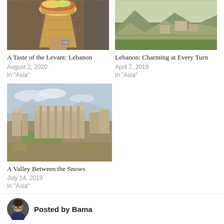[Figure (photo): Hand holding a food cone (sandwich/shawarma cone) with chips, close-up photo]
A Taste of the Levant: Lebanon
August 2, 2020
In "Asia"
[Figure (photo): Aerial view of mountain village in Lebanon with terraced green hillsides and stone buildings]
Lebanon: Charming at Every Turn
April 7, 2019
In "Asia"
[Figure (photo): Wide aerial view of ancient Roman ruins (Baalbek) set in a valley with mountains in background]
A Valley Between the Snows
July 14, 2019
In "Asia"
Posted by Bama